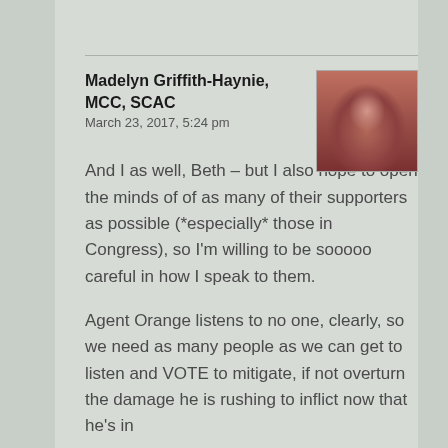Madelyn Griffith-Haynie, MCC, SCAC
March 23, 2017, 5:24 pm
[Figure (photo): Small square avatar/profile photo of a woman with reddish-brown tinted photo effect]
And I as well, Beth – but I also hope to open the minds of of as many of their supporters as possible (*especially* those in Congress), so I'm willing to be sooooo careful in how I speak to them.
Agent Orange listens to no one, clearly, so we need as many people as we can get to listen and VOTE to mitigate, if not overturn the damage he is rushing to inflict now that he's in